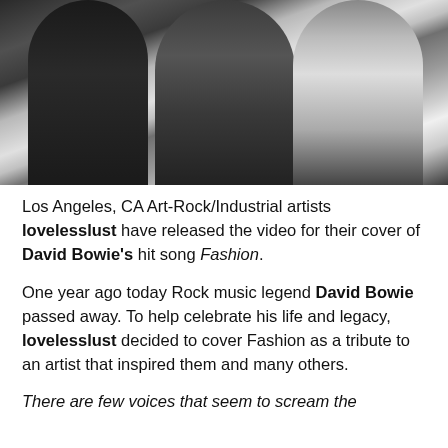[Figure (photo): Black and white photo of three people (members of lovelesslust) posing together. Left person in dark blazer, center person in suit with tie, right person in dark vest/top. Photo is in portrait/candid style.]
Los Angeles, CA Art-Rock/Industrial artists lovelesslust have released the video for their cover of David Bowie's hit song Fashion.
One year ago today Rock music legend David Bowie passed away. To help celebrate his life and legacy, lovelesslust decided to cover Fashion as a tribute to an artist that inspired them and many others.
There are few voices that seem to scream the